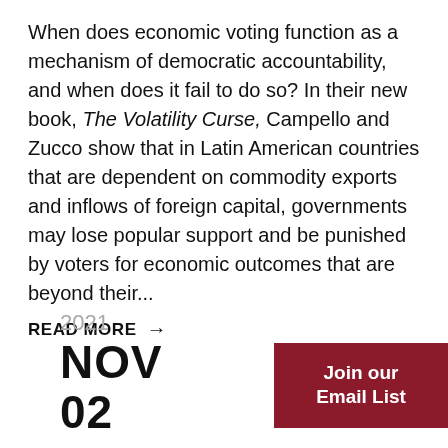When does economic voting function as a mechanism of democratic accountability, and when does it fail to do so? In their new book, The Volatility Curse, Campello and Zucco show that in Latin American countries that are dependent on commodity exports and inflows of foreign capital, governments may lose popular support and be punished by voters for economic outcomes that are beyond their...
READ MORE →
2021
NOV
02
Join our Email List